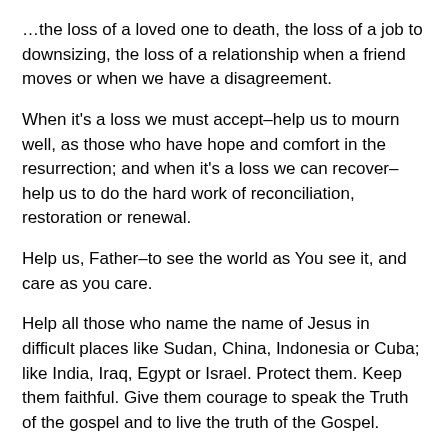…the loss of a loved one to death, the loss of a job to downsizing, the loss of a relationship when a friend moves or when we have a disagreement.
When it's a loss we must accept–help us to mourn well, as those who have hope and comfort in the resurrection; and when it's a loss we can recover–help us to do the hard work of reconciliation, restoration or renewal.
Help us, Father–to see the world as You see it, and care as you care.
Help all those who name the name of Jesus in difficult places like Sudan, China, Indonesia or Cuba; like India, Iraq, Egypt or Israel. Protect them. Keep them faithful. Give them courage to speak the Truth of the gospel and to live the truth of the Gospel.